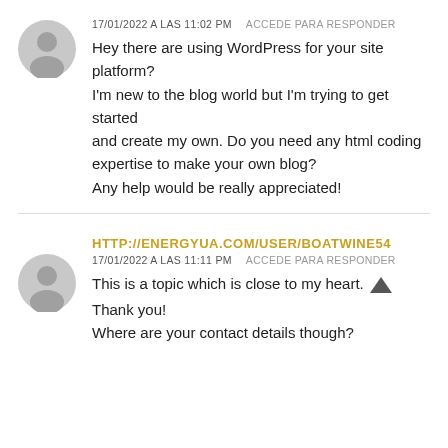[Figure (illustration): Gray anonymous user avatar icon (circle with silhouette), first comment]
17/01/2022 A LAS 11:02 PM   ACCEDE PARA RESPONDER
Hey there are using WordPress for your site platform?
I'm new to the blog world but I'm trying to get started
and create my own. Do you need any html coding expertise to make your own blog?
Any help would be really appreciated!
[Figure (illustration): Gray anonymous user avatar icon (circle with silhouette), second comment]
HTTP://ENERGYUA.COM/USER/BOATWINE54
17/01/2022 A LAS 11:11 PM   ACCEDE PARA RESPONDER
This is a topic which is close to my heart. Thank you!
Where are your contact details though?